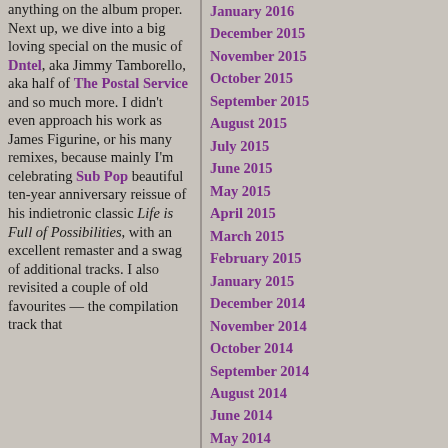anything on the album proper.

Next up, we dive into a big loving special on the music of Dntel, aka Jimmy Tamborello, aka half of The Postal Service and so much more. I didn't even approach his work as James Figurine, or his many remixes, because mainly I'm celebrating Sub Pop beautiful ten-year anniversary reissue of his indietronic classic Life is Full of Possibilities, with an excellent remaster and a swag of additional tracks. I also revisited a couple of old favourites — the compilation track that
January 2016
December 2015
November 2015
October 2015
September 2015
August 2015
July 2015
June 2015
May 2015
April 2015
March 2015
February 2015
January 2015
December 2014
November 2014
October 2014
September 2014
August 2014
June 2014
May 2014
April 2014
March 2014
February 2014
January 2014
December 2013
November 2013
October 2013
September 2013
August 2013